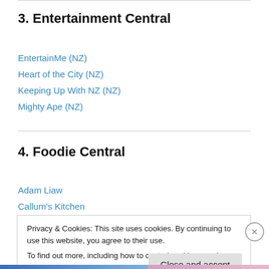3. Entertainment Central
EntertainMe (NZ)
Heart of the City (NZ)
Keeping Up With NZ (NZ)
Mighty Ape (NZ)
4. Foodie Central
Adam Liaw
Callum's Kitchen
Privacy & Cookies: This site uses cookies. By continuing to use this website, you agree to their use.
To find out more, including how to control cookies, see here: Cookie Policy